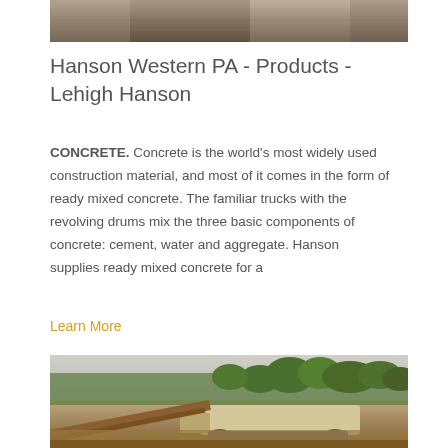[Figure (photo): Partial aerial or landscape photo at top of page, showing earthen/industrial terrain]
Hanson Western PA - Products - Lehigh Hanson
CONCRETE. Concrete is the world's most widely used construction material, and most of it comes in the form of ready mixed concrete. The familiar trucks with the revolving drums mix the three basic components of concrete: cement, water and aggregate. Hanson supplies ready mixed concrete for a
Learn More
[Figure (photo): Photo of industrial construction/mining equipment with trees in background]